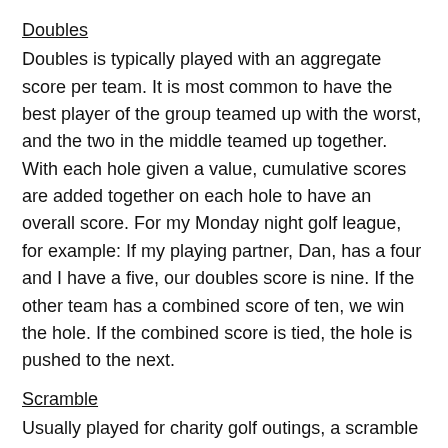Doubles
Doubles is typically played with an aggregate score per team. It is most common to have the best player of the group teamed up with the worst, and the two in the middle teamed up together. With each hole given a value, cumulative scores are added together on each hole to have an overall score. For my Monday night golf league, for example: If my playing partner, Dan, has a four and I have a five, our doubles score is nine. If the other team has a combined score of ten, we win the hole. If the combined score is tied, the hole is pushed to the next.
Scramble
Usually played for charity golf outings, a scramble is a team game where each golfer hits from the same location. The best tee shot (chosen by general consensus) is used, to start. All other players then pick up their ball and hit from the result of the best drive.